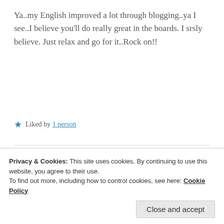Ya..my English improved a lot through blogging..ya I see..I believe you'll do really great in the boards. I srsly believe. Just relax and go for it..Rock on!!
★ Liked by 1 person
[Figure (photo): Circular avatar profile picture of user Zealous Homo Sapiens, showing a person with dark hair against a dark background, brownish-red toned image]
ZEALOUS HOMO SAPIENS
7 Mar 2019 at 10:02 pm
Privacy & Cookies: This site uses cookies. By continuing to use this website, you agree to their use.
To find out more, including how to control cookies, see here: Cookie Policy
Close and accept
surely payon. Yes I've got to agree with you